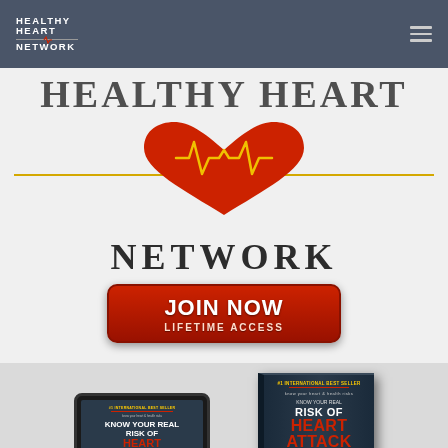Healthy Heart Network — Navigation bar with logo and hamburger menu
HEALTHY HEART
[Figure (logo): Healthy Heart Network logo: a red heart with a yellow ECG/heartbeat line across it, flanked by a yellow horizontal rule on each side]
NETWORK
[Figure (other): Red pill-shaped JOIN NOW button with subtitle LIFETIME ACCESS]
[Figure (photo): Book covers showing 'Know Your Real Risk of Heart Attack' — one as a tablet/e-reader and one as a physical hardcover book with text '#1 INTERNATIONAL BEST SELLER']